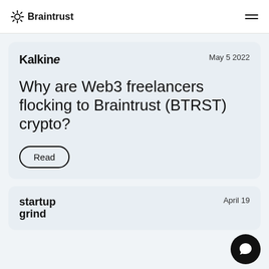Braintrust
[Figure (screenshot): Kalkine article card with title 'Why are Web3 freelancers flocking to Braintrust (BTRST) crypto?' dated May 5 2022, with a Read button]
[Figure (screenshot): Startup Grind article card dated April 19, partially visible at bottom of page]